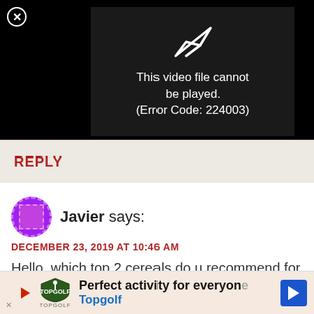[Figure (screenshot): Video player showing error: 'This video file cannot be played. (Error Code: 224003)' on black background with close button (X in circle) top-left and a broken play icon.]
REPLY
Javier says:
DECEMBER 23, 2019 AT 10:46 AM
Hello, which top 2 cereals do u recommend for type 2 diabetic?
REPLY
[Figure (screenshot): Advertisement banner for Topgolf: 'Perfect activity for everyone' with Topgolf logo and blue arrow button.]